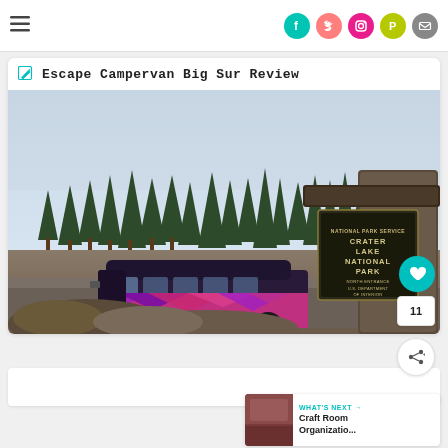Navigation bar with hamburger menu and social icons: Facebook, Twitter, Instagram, Pinterest, Email
Escape Campervan Big Sur Review
[Figure (photo): A colorfully wrapped campervan (pink/purple/blue mountain design) parked at the Crater Lake National Park north entrance sign, surrounded by evergreen trees under a hazy sky.]
11
WHAT'S NEXT → Craft Room Organizatio...